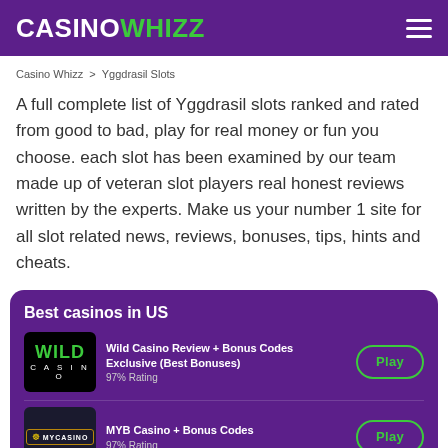CASINOWHIZZ
Casino Whizz > Yggdrasil Slots
A full complete list of Yggdrasil slots ranked and rated from good to bad, play for real money or fun you choose. each slot has been examined by our team made up of veteran slot players real honest reviews written by the experts. Make us your number 1 site for all slot related news, reviews, bonuses, tips, hints and cheats.
Best casinos in US
Wild Casino Review + Bonus Codes Exclusive (Best Bonuses)
97% Rating
MYB Casino + Bonus Codes
97% Rating